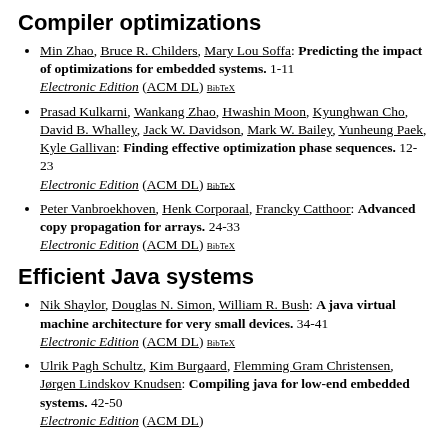Compiler optimizations
Min Zhao, Bruce R. Childers, Mary Lou Soffa: Predicting the impact of optimizations for embedded systems. 1-11 Electronic Edition (ACM DL) BibTeX
Prasad Kulkarni, Wankang Zhao, Hwashin Moon, Kyunghwan Cho, David B. Whalley, Jack W. Davidson, Mark W. Bailey, Yunheung Paek, Kyle Gallivan: Finding effective optimization phase sequences. 12-23 Electronic Edition (ACM DL) BibTeX
Peter Vanbroekhoven, Henk Corporaal, Francky Catthoor: Advanced copy propagation for arrays. 24-33 Electronic Edition (ACM DL) BibTeX
Efficient Java systems
Nik Shaylor, Douglas N. Simon, William R. Bush: A java virtual machine architecture for very small devices. 34-41 Electronic Edition (ACM DL) BibTeX
Ulrik Pagh Schultz, Kim Burgaard, Flemming Gram Christensen, Jørgen Lindskov Knudsen: Compiling java for low-end embedded systems. 42-50 Electronic Edition (ACM DL)